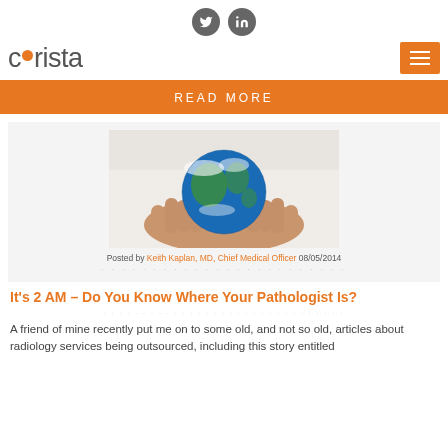[Figure (logo): Corista logo with orange dot replacing letter 'o']
[Figure (photo): Hands in white coat holding Earth globe]
Posted by Keith Kaplan, MD, Chief Medical Officer 08/05/2014
It's 2 AM – Do You Know Where Your Pathologist Is?
A friend of mine recently put me on to some old, and not so old, articles about radiology services being outsourced, including this story entitled